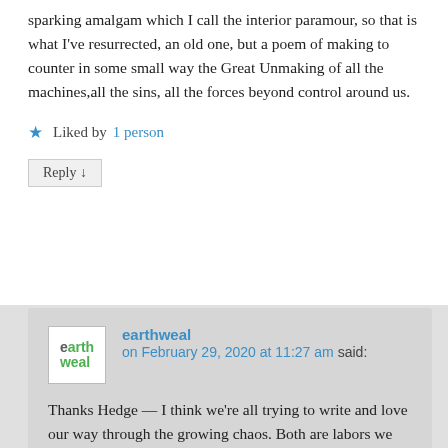sparking amalgam which I call the interior paramour, so that is what I've resurrected, an old one, but a poem of making to counter in some small way the Great Unmaking of all the machines,all the sins, all the forces beyond control around us.
★ Liked by 1 person
Reply ↓
earthweal on February 29, 2020 at 11:27 am said:
Thanks Hedge — I think we're all trying to write and love our way through the growing chaos. Both are labors we can never complete but we keep on keepin' on. What else are we gonna do? – Brendan